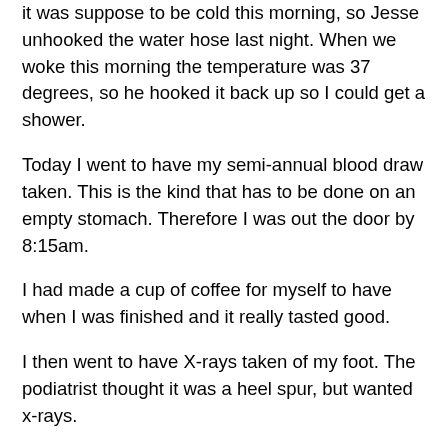it was suppose to be cold this morning, so Jesse unhooked the water hose last night. When we woke this morning the temperature was 37 degrees, so he hooked it back up so I could get a shower.
Today I went to have my semi-annual blood draw taken. This is the kind that has to be done on an empty stomach. Therefore I was out the door by 8:15am.
I had made a cup of coffee for myself to have when I was finished and it really tasted good.
I then went to have X-rays taken of my foot. The podiatrist thought it was a heel spur, but wanted x-rays.
He also taped up my foot yesterday and gave me some stretching exercises to do with my foot.
After I was finished with my appointment I went in search of a place to have my hair cut. The lady said she could take me at 11:15 which was 1 and 1/2 hours from now.
I told her I would come back and went to Target in search of a basket storage table for the boys' things, ie leashes, poop